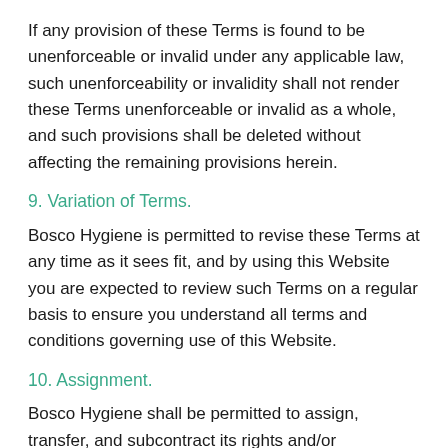If any provision of these Terms is found to be unenforceable or invalid under any applicable law, such unenforceability or invalidity shall not render these Terms unenforceable or invalid as a whole, and such provisions shall be deleted without affecting the remaining provisions herein.
9. Variation of Terms.
Bosco Hygiene is permitted to revise these Terms at any time as it sees fit, and by using this Website you are expected to review such Terms on a regular basis to ensure you understand all terms and conditions governing use of this Website.
10. Assignment.
Bosco Hygiene shall be permitted to assign, transfer, and subcontract its rights and/or obligations under these Terms without any notification or consent required. However, you